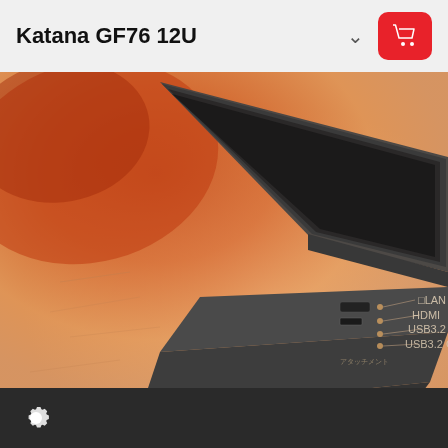Katana GF76 12U
[Figure (photo): MSI Katana GF76 12U gaming laptop shown from the side, partially open, on a warm orange/peach gradient background with artistic brush strokes. Port labels visible on the right side: LAN, HDMI, USB3.2 G, USB3.2 Gen1 Type (partially cropped)]
Settings gear icon